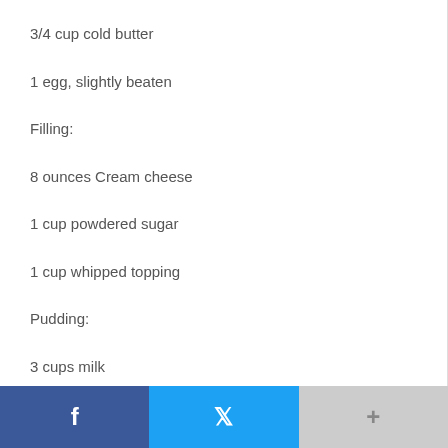3/4 cup cold butter
1 egg, slightly beaten
Filling:
8 ounces Cream cheese
1 cup powdered sugar
1 cup whipped topping
Pudding:
3 cups milk
1 package (3.9 ounces) chocolate instant pudding
1 package (3.9 ounces) vanilla instant pudding
Facebook | Twitter | +